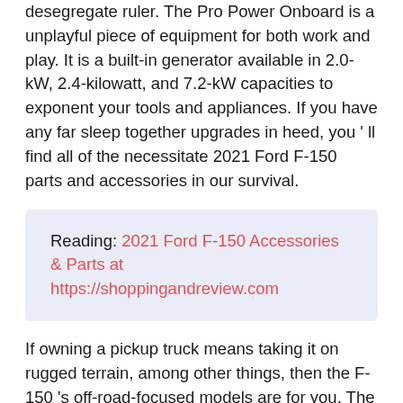desegregate ruler. The Pro Power Onboard is a unplayful piece of equipment for both work and play. It is a built-in generator available in 2.0-kW, 2.4-kilowatt, and 7.2-kW capacities to exponent your tools and appliances. If you have any far sleep together upgrades in heed, you ' ll find all of the necessitate 2021 Ford F-150 parts and accessories in our survival.
Reading: 2021 Ford F-150 Accessories & Parts at https://shoppingandreview.com
If owning a pickup truck means taking it on rugged terrain, among other things, then the F-150 's off-road-focused models are for you. The Tremor box comes ahead of the reveal of the newfangled Raptor, teasing the off-roading public. This pack can be seen as a light version of the Raptor that borrows some of its parts, including a 4WD transfer case. All Tremors have a lifted suspension with retuned springs and singular